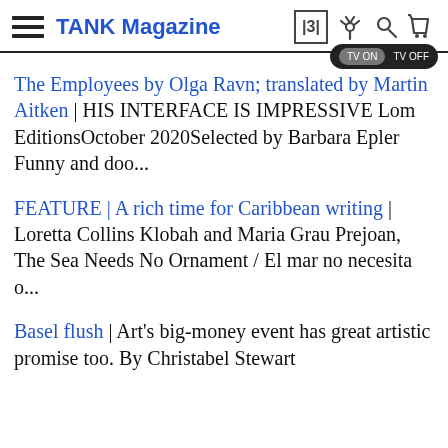TANK Magazine
The Employees by Olga Ravn; translated by Martin Aitken | HIS INTERFACE IS IMPRESSIVE Lom EditionsOctober 2020Selected by Barbara Epler Funny and doo...
FEATURE | A rich time for Caribbean writing | Loretta Collins Klobah and Maria Grau Prejoan, The Sea Needs No Ornament / El mar no necesita o...
Basel flush | Art's big-money event has great artistic promise too. By Christabel Stewart